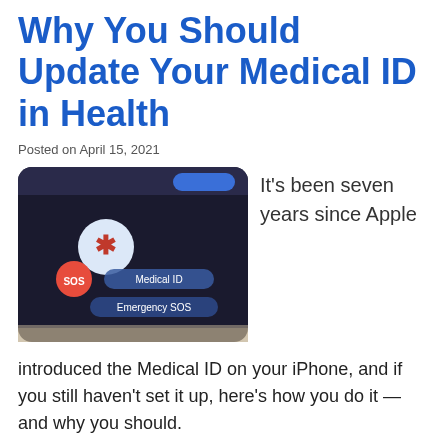Why You Should Update Your Medical ID in Health
Posted on April 15, 2021
[Figure (photo): A smartphone screen showing the Medical ID lock screen interface with an SOS button (red circle) and options for Medical ID and Emergency SOS on a dark background.]
It's been seven years since Apple
introduced the Medical ID on your iPhone, and if you still haven't set it up, here's how you do it — and why you should.
The Health app on your iPhone was introduced...